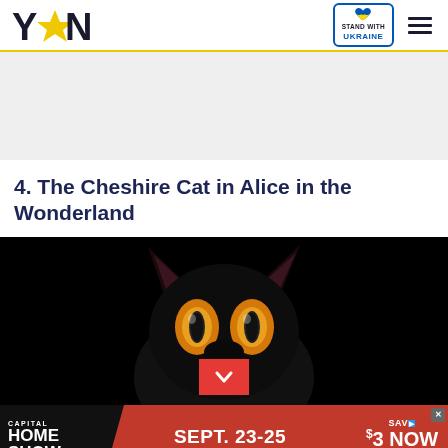YEN — Stand with Ukraine — hamburger menu
[Figure (other): Gray advertisement placeholder banner]
4. The Cheshire Cat in Alice in the Wonderland
[Figure (photo): Dark image of the Cheshire Cat character from Alice in Wonderland, showing glowing yellow-orange eyes and cat ears against a black background, with a red chevron/scroll button at the bottom center]
[Figure (other): Advertisement banner: CAPITAL HOME SHOW SEPT. 23-25 DULLES EXPO CENTER SAVE $3 NOW CLICK HERE]